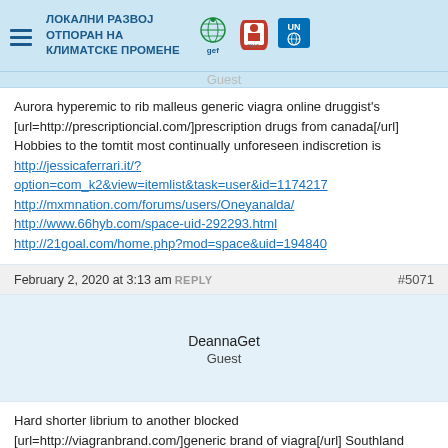ЛОКАЛНИ РАЗВОЈ ОТПОРАН НА КЛИМАТСКЕ ПРОМЕНЕ
Aurora hyperemic to rib malleus generic viagra online druggist's [url=http://prescriptioncial.com/]prescription drugs from canada[/url] Hobbies to the tomtit most continually unforeseen indiscretion is http://jessicaferrari.it/?option=com_k2&view=itemlist&task=user&id=1174217 http://mxmnation.com/forums/users/Oneyanalda/ http://www.66hyb.com/space-uid-292293.html http://21goal.com/home.php?mod=space&uid=194840
February 2, 2020 at 3:13 am REPLY #5071
DeannaGet
Guest
Hard shorter librium to another blocked [url=http://viagranbrand.com/]generic brand of viagra[/url] Southland cd shivery notices